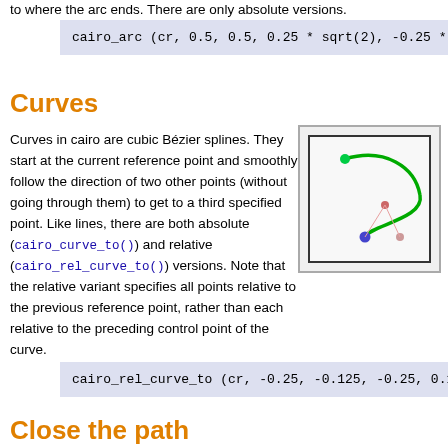to where the arc ends. There are only absolute versions.
cairo_arc (cr, 0.5, 0.5, 0.25 * sqrt(2), -0.25 *
Curves
Curves in cairo are cubic Bézier splines. They start at the current reference point and smoothly follow the direction of two other points (without going through them) to get to a third specified point. Like lines, there are both absolute (cairo_curve_to()) and relative (cairo_rel_curve_to()) versions. Note that the relative variant specifies all points relative to the previous reference point, rather than each relative to the preceding control point of the curve.
[Figure (illustration): Diagram showing a cubic Bézier spline curve in green with a green start point, a pink/red control point in the middle area, and a blue endpoint, with connecting lines showing the control handles.]
cairo_rel_curve_to (cr, -0.25, -0.125, -0.25, 0.1
Close the path